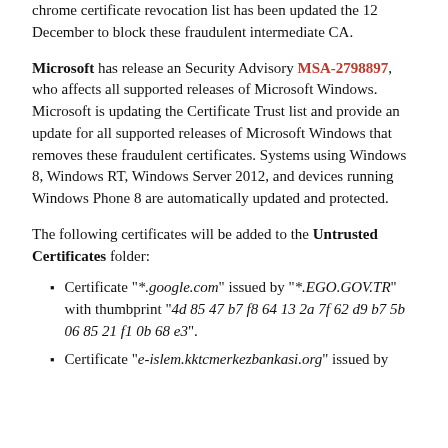chrome certificate revocation list has been updated the 12 December to block these fraudulent intermediate CA.
Microsoft has release an Security Advisory MSA-2798897, who affects all supported releases of Microsoft Windows. Microsoft is updating the Certificate Trust list and provide an update for all supported releases of Microsoft Windows that removes these fraudulent certificates. Systems using Windows 8, Windows RT, Windows Server 2012, and devices running Windows Phone 8 are automatically updated and protected.
The following certificates will be added to the Untrusted Certificates folder:
Certificate "*.google.com" issued by "*.EGO.GOV.TR" with thumbprint "4d 85 47 b7 f8 64 13 2a 7f 62 d9 b7 5b 06 85 21 f1 0b 68 e3".
Certificate "e-islem.kktcmerkezbankasi.org" issued by